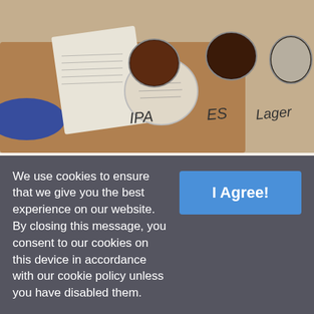[Figure (photo): Overhead photo of a wooden board with three small mason jars or tasting glasses filled with different beers. Labels written by hand underneath each glass appear to read 'IPA', 'ES', and 'Lager'. A beer tasting menu is visible in the background.]
Photo credit: @maggiesdistillery
Is there anything more satisfying than a cold craft beer on tap? We think not. At Utility Brewing, you'll find an impressive and diverse selection of home-brewed beers, all offering unique flavors. The menu
We use cookies to ensure that we give you the best experience on our website. By closing this message, you consent to our cookies on this device in accordance with our cookie policy unless you have disabled them.